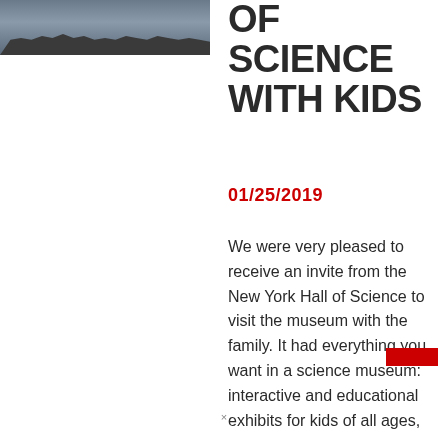[Figure (photo): Photo of group of people/children at what appears to be the New York Hall of Science, exterior or exhibit area with crowd of visitors]
OF SCIENCE WITH KIDS
01/25/2019
We were very pleased to receive an invite from the New York Hall of Science to visit the museum with the family. It had everything you want in a science museum: interactive and educational exhibits for kids of all ages, …